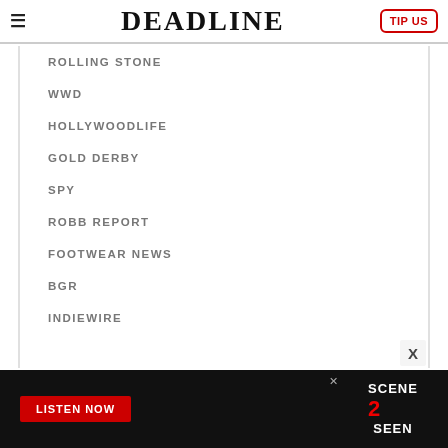≡  DEADLINE  TIP US
ROLLING STONE
WWD
HOLLYWOODLIFE
GOLD DERBY
SPY
ROBB REPORT
FOOTWEAR NEWS
BGR
INDIEWIRE
[Figure (screenshot): Ad banner at the bottom: black background with red LISTEN NOW button and SCENE2SEEN logo on the right]